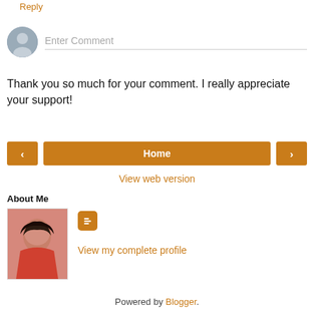Reply
[Figure (other): Comment entry area with user avatar circle and 'Enter Comment' placeholder text input field]
Thank you so much for your comment. I really appreciate your support!
[Figure (other): Navigation buttons: left arrow, Home center button, right arrow — all in orange/brown color]
View web version
About Me
[Figure (photo): Profile photo of a woman with dark hair wearing a red top, alongside a Blogger icon and 'View my complete profile' link]
View my complete profile
Powered by Blogger.